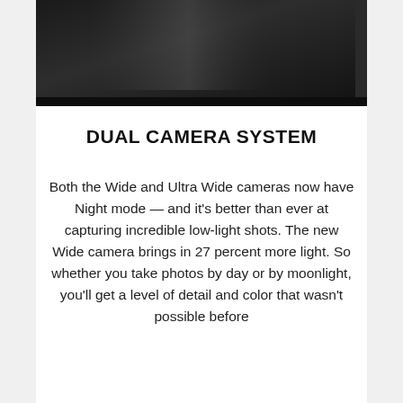[Figure (photo): Bottom portion of a dark smartphone device shown against a white background, cropped at top]
DUAL CAMERA SYSTEM
Both the Wide and Ultra Wide cameras now have Night mode — and it's better than ever at capturing incredible low-light shots. The new Wide camera brings in 27 percent more light. So whether you take photos by day or by moonlight, you'll get a level of detail and color that wasn't possible before